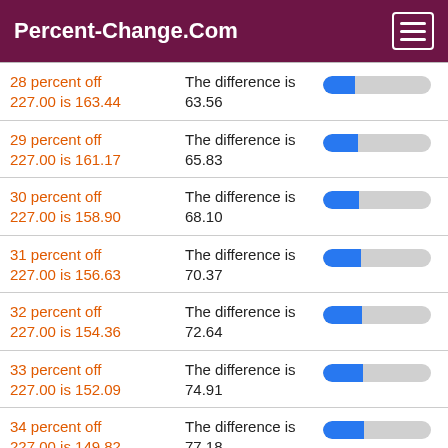Percent-Change.Com
28 percent off 227.00 is 163.44 | The difference is 63.56
29 percent off 227.00 is 161.17 | The difference is 65.83
30 percent off 227.00 is 158.90 | The difference is 68.10
31 percent off 227.00 is 156.63 | The difference is 70.37
32 percent off 227.00 is 154.36 | The difference is 72.64
33 percent off 227.00 is 152.09 | The difference is 74.91
34 percent off 227.00 is 149.82 | The difference is 77.18